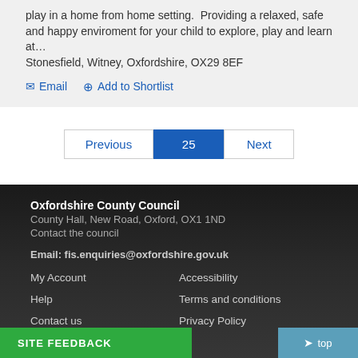play in a home from home setting.  Providing a relaxed, safe and happy enviroment for your child to explore, play and learn at… Stonesfield, Witney, Oxfordshire, OX29 8EF
Email   Add to Shortlist
Previous  25  Next
Oxfordshire County Council
County Hall, New Road, Oxford, OX1 1ND
Contact the council

Email: fis.enquiries@oxfordshire.gov.uk
My Account   Accessibility
Help   Terms and conditions
Contact us   Privacy Policy
About us
A-Z List
Site feedback
top